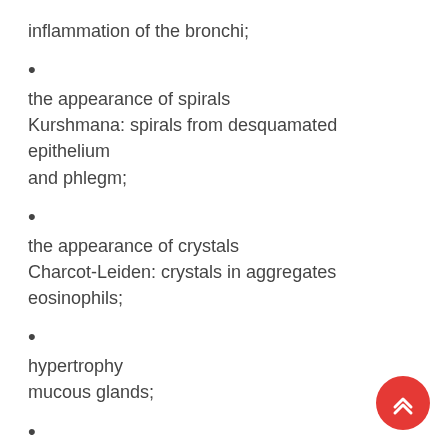inflammation of the bronchi;
the appearance of spirals Kurshmana: spirals from desquamated epithelium and phlegm;
the appearance of crystals Charcot-Leiden: crystals in aggregates eosinophils;
hypertrophy mucous glands;
hypertrophy